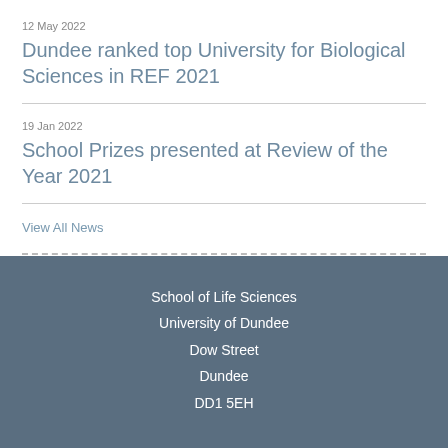12 May 2022
Dundee ranked top University for Biological Sciences in REF 2021
19 Jan 2022
School Prizes presented at Review of the Year 2021
View All News
School of Life Sciences
University of Dundee
Dow Street
Dundee
DD1 5EH